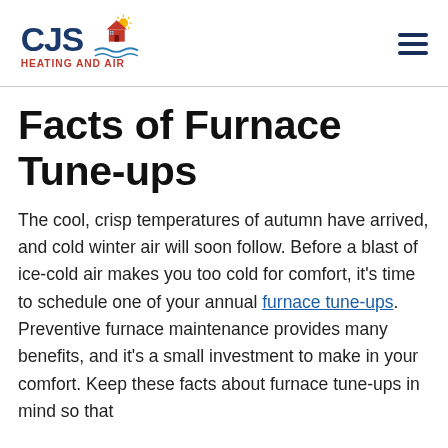CJS HEATING AND AIR
Facts of Furnace Tune-ups
The cool, crisp temperatures of autumn have arrived, and cold winter air will soon follow. Before a blast of ice-cold air makes you too cold for comfort, it's time to schedule one of your annual furnace tune-ups. Preventive furnace maintenance provides many benefits, and it's a small investment to make in your comfort. Keep these facts about furnace tune-ups in mind so that